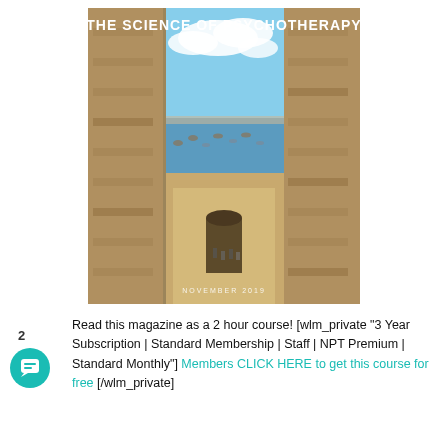[Figure (illustration): Magazine cover of 'The Science of Psychotherapy' November 2019 issue, showing a view through ancient stone walls/battlements looking out to a harbor with boats, blue sky with clouds, and people in a courtyard below.]
Read this magazine as a 2 hour course! [wlm_private "3 Year Subscription|Standard Membership|Staff|NPT Premium|Standard Monthly"] Members CLICK HERE to get this course for free [/wlm_private]